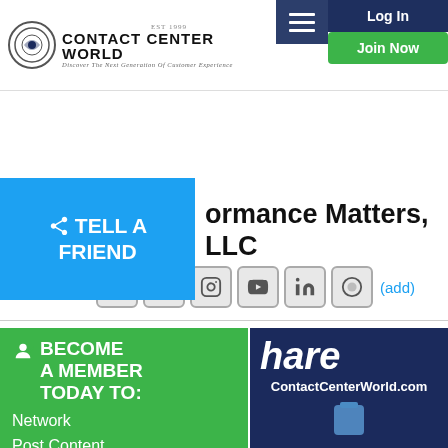Contact Center World — Log In | Join Now
[Figure (logo): Contact Center World logo with circular emblem and tagline Discover The Next Generation Of Customer Experience]
< TELL A FRIEND
ormance Matters, LLC
[Figure (other): Social media icons: Facebook, Twitter, Instagram, YouTube, LinkedIn, ContactCenterWorld, (add)]
BECOME A MEMBER TODAY TO: Network Post Content Enter Awards + Much More
[Figure (screenshot): Dark blue banner with 'hare' and 'ContactCenterWorld.com' text and a blue device icon]